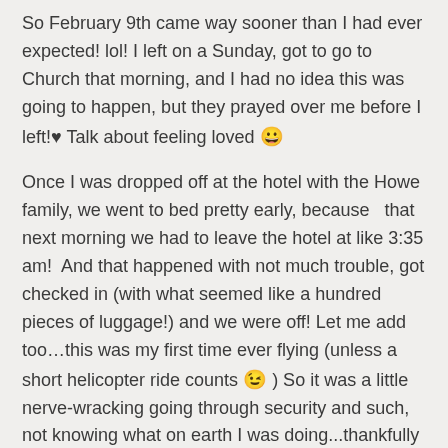So February 9th came way sooner than I had ever expected! lol! I left on a Sunday, got to go to Church that morning, and I had no idea this was going to happen, but they prayed over me before I left!♥ Talk about feeling loved 😀
Once I was dropped off at the hotel with the Howe family, we went to bed pretty early, because  that next morning we had to leave the hotel at like 3:35 am!  And that happened with not much trouble, got checked in (with what seemed like a hundred pieces of luggage!) and we were off! Let me add too…this was my first time ever flying (unless a short helicopter ride counts 😉 ) So it was a little nerve-wracking going through security and such, not knowing what on earth I was doing...thankfully I was with other people!
And let me tell you, I think flying is one of the most epic